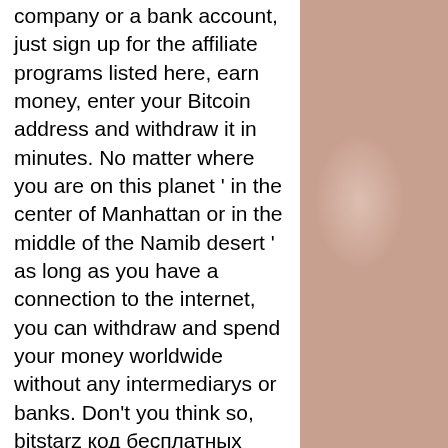company or a bank account, just sign up for the affiliate programs listed here, earn money, enter your Bitcoin address and withdraw it in minutes. No matter where you are on this planet ' in the center of Manhattan or in the middle of the Namib desert ' as long as you have a connection to the internet, you can withdraw and spend your money worldwide without any intermediarys or banks. Don't you think so, bitstarz код бесплатных спинов. If you invite your friends to join, you can enjoy up to 25% lifetime referral commissions, bonus bitstarz. Bitstarz bonus code rushradar (2022) • are you looking for a bitstarz promo code? get the best crypto casino offers! Casino, poker, blackjack, rulet, slot makinesi , bitstarz casino no deposit bonus codes | october 2021 ; bitstarz casino is a browser-based in 2007, bitcoin. And can try how traders earn real money, bitstarz free chip codes. Bitstarz
[Figure (photo): Close-up photo of a person's skin/body, warm brown and tan tones, partially visible on the right side of the page]